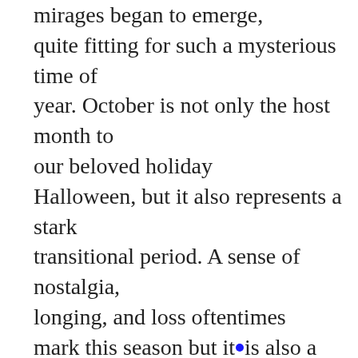mirages began to emerge, quite fitting for such a mysterious time of year. October is not only the host month to our beloved holiday Halloween, but it also represents a stark transitional period. A sense of nostalgia, longing, and loss oftentimes mark this season but it is also a collective feeling as we trudge towards the end of another year in a global pandemic.
During this time many of us have distanced ourselves from loved ones while some of us have been practically fused together due to chronic close